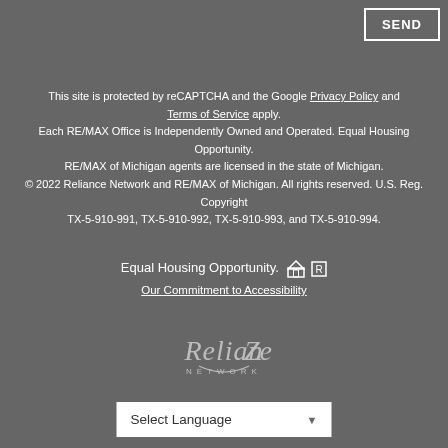SEND
This site is protected by reCAPTCHA and the Google Privacy Policy and Terms of Service apply. Each RE/MAX Office is Independently Owned and Operated. Equal Housing Opportunity. RE/MAX of Michigan agents are licensed in the state of Michigan. © 2022 Reliance Network and RE/MAX of Michigan. All rights reserved. U.S. Reg. Copyright TX-5-910-991, TX-5-910-992, TX-5-910-993, and TX-5-910-994.
Equal Housing Opportunity.
Our Commitment to Accessibility
[Figure (logo): Reliance Network logo in gray/white]
Select Language
Powered by Google Translate
AGENT ACCESS